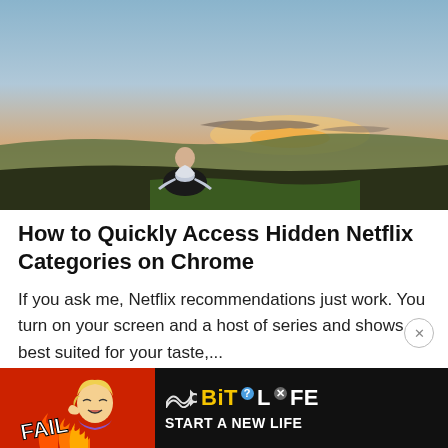[Figure (photo): Person sitting in meditation pose on a hilltop, viewed from behind, looking at a sunset landscape with fields and sky in shades of blue, orange and purple.]
How to Quickly Access Hidden Netflix Categories on Chrome
If you ask me, Netflix recommendations just work. You turn on your screen and a host of series and shows best suited for your taste,...
[Figure (advertisement): BitLife game advertisement banner with red/fire background on left showing FAIL text and cartoon character, and black background on right showing BitLife logo and START A NEW LIFE text.]